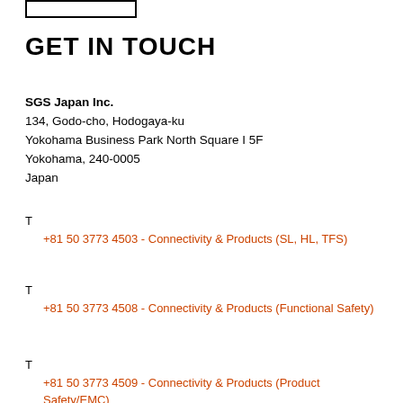GET IN TOUCH
SGS Japan Inc.
134, Godo-cho, Hodogaya-ku
Yokohama Business Park North Square I 5F
Yokohama, 240-0005
Japan
T
+81 50 3773 4503 - Connectivity & Products (SL, HL, TFS)
T
+81 50 3773 4508 - Connectivity & Products (Functional Safety)
T
+81 50 3773 4509 - Connectivity & Products (Product Safety/EMC)